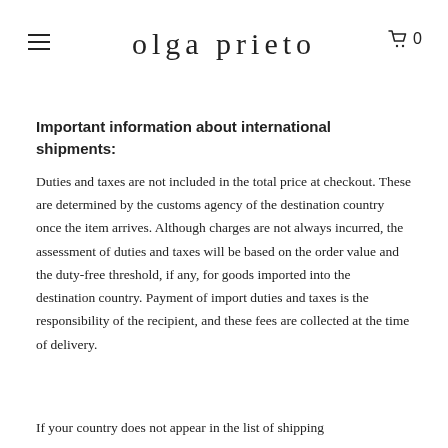olga prieto
Important information about international shipments:
Duties and taxes are not included in the total price at checkout. These are determined by the customs agency of the destination country once the item arrives. Although charges are not always incurred, the assessment of duties and taxes will be based on the order value and the duty-free threshold, if any, for goods imported into the destination country. Payment of import duties and taxes is the responsibility of the recipient, and these fees are collected at the time of delivery.
If your country does not appear in the list of shipping